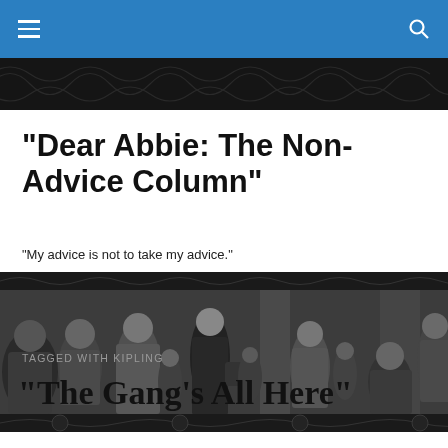"Dear Abbie: The Non-Advice Column"
"My advice is not to take my advice."
[Figure (photo): Black and white film still showing a crowd of people in what appears to be a busy indoor scene, with a woman in dark clothing prominent in the center.]
TAGGED WITH KIPLING
“The Gang’s All Here”